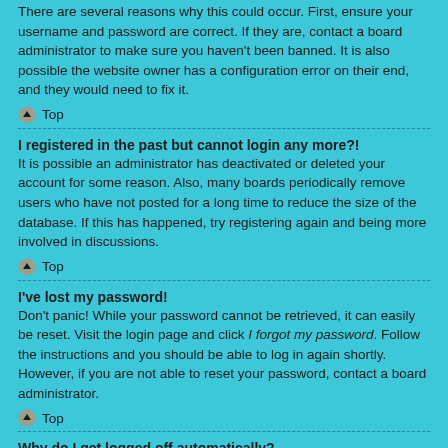There are several reasons why this could occur. First, ensure your username and password are correct. If they are, contact a board administrator to make sure you haven't been banned. It is also possible the website owner has a configuration error on their end, and they would need to fix it.
Top
I registered in the past but cannot login any more?!
It is possible an administrator has deactivated or deleted your account for some reason. Also, many boards periodically remove users who have not posted for a long time to reduce the size of the database. If this has happened, try registering again and being more involved in discussions.
Top
I've lost my password!
Don't panic! While your password cannot be retrieved, it can easily be reset. Visit the login page and click I forgot my password. Follow the instructions and you should be able to log in again shortly.
However, if you are not able to reset your password, contact a board administrator.
Top
Why do I get logged off automatically?
If you do not check the Remember me box when you login, the board will only